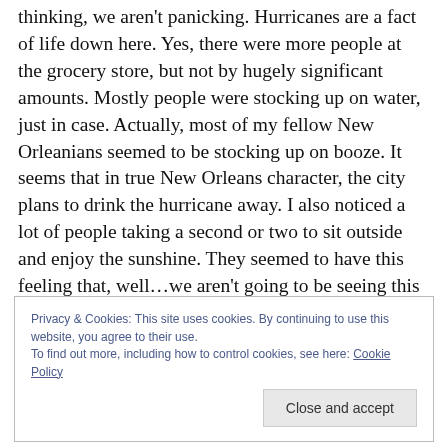thinking, we aren't panicking. Hurricanes are a fact of life down here. Yes, there were more people at the grocery store, but not by hugely significant amounts. Mostly people were stocking up on water, just in case. Actually, most of my fellow New Orleanians seemed to be stocking up on booze. It seems that in true New Orleans character, the city plans to drink the hurricane away. I also noticed a lot of people taking a second or two to sit outside and enjoy the sunshine. They seemed to have this feeling that, well…we aren't going to be seeing this for a while, might as well enjoy it while it lasts.
Privacy & Cookies: This site uses cookies. By continuing to use this website, you agree to their use. To find out more, including how to control cookies, see here: Cookie Policy